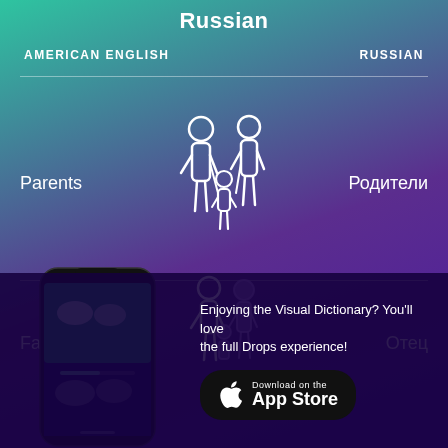Russian
AMERICAN ENGLISH
RUSSIAN
Parents
[Figure (illustration): White silhouette illustration of two parents holding hands with a child between them]
Родители
Father
[Figure (illustration): White and purple silhouette illustration of a father with family members]
Отец
[Figure (screenshot): Smartphone showing the Drops app with vocabulary learning interface]
Enjoying the Visual Dictionary? You'll love the full Drops experience!
[Figure (logo): Download on the App Store button]